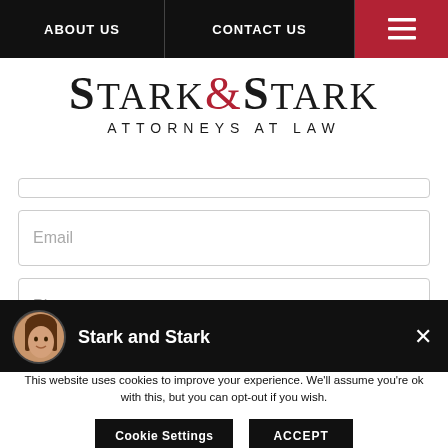ABOUT US | CONTACT US
Stark & Stark Attorneys at Law
[Figure (screenshot): Contact form with Email and Phone input fields visible, plus partial Subject field]
[Figure (screenshot): Cookie consent popup with circular avatar photo of a woman, 'Stark and Stark' heading, close X button, cookie notice text, Cookie Settings button, and ACCEPT button]